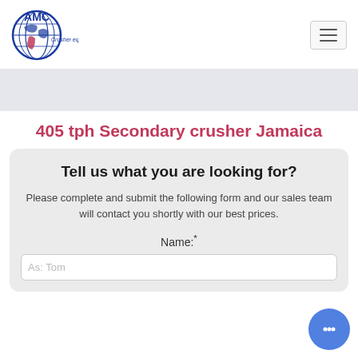[Figure (logo): AMC Crusher equipment logo — globe icon with AMC text and 'Crusher equipment' tagline in blue]
405 tph Secondary crusher Jamaica
Tell us what you are looking for?
Please complete and submit the following form and our sales team will contact you shortly with our best prices.
Name:*